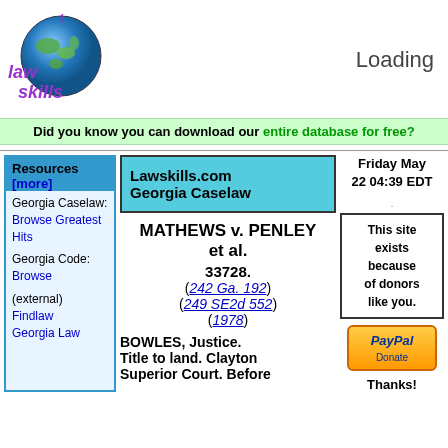[Figure (logo): LawSkills logo with globe and stylized text 'law skills']
Loading
Did you know you can download our entire database for free?
Resources [more]
Georgia Caselaw: Browse Greatest Hits
Georgia Code: Browse
(external) Findlaw Georgia Law
Lawskills.com Georgia Caselaw
MATHEWS v. PENLEY et al.
33728.
(242 Ga. 192)
(249 SE2d 552)
(1978)
BOWLES, Justice.
Title to land. Clayton Superior Court. Before
Friday May 22 04:39 EDT
This site exists because of donors like you.
[Figure (other): PayPal Donate button]
Thanks!